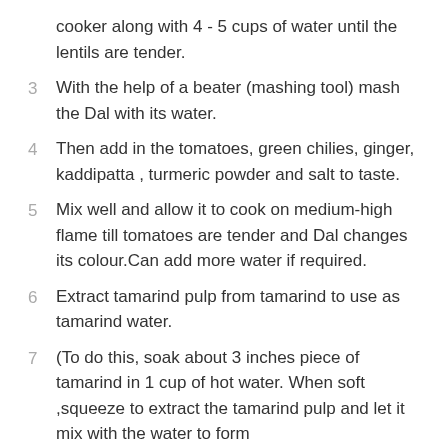cooker along with 4 - 5 cups of water until the lentils are tender.
3  With the help of a beater (mashing tool) mash the Dal with its water.
4  Then add in the tomatoes, green chilies, ginger, kaddipatta , turmeric powder and salt to taste.
5  Mix well and allow it to cook on medium-high flame till tomatoes are tender and Dal changes its colour.Can add more water if required.
6  Extract tamarind pulp from tamarind to use as tamarind water.
7  (To do this, soak about 3 inches piece of tamarind in 1 cup of hot water. When soft ,squeeze to extract the tamarind pulp and let it mix with the water to form